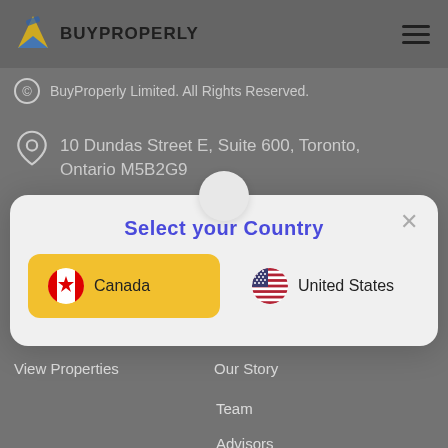BUYPROPERLY
BuyProperly Limited. All Rights Reserved.
10 Dundas Street E, Suite 600, Toronto, Ontario M5B2G9
info@buyproperly.ca
Select your Country
Canada
United States
View Properties
Our Story
Team
Advisors